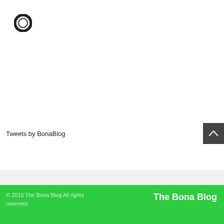[Figure (logo): Circular logo icon - dark ring/donut shape in top left corner]
Tweets by BonaBlog
[Figure (other): Back to top button - dark gray square with upward chevron arrow]
© 2016 The Bona Blog All rights reserved.
The Bona Blog